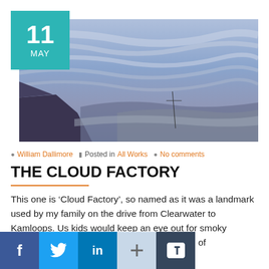[Figure (photo): Landscape painting of mountains and dramatic cloudy sky in blue-purple tones, with a date badge showing '11 MAY' in teal overlay on top-left]
William Dallimore  Posted in All Works  No comments
THE CLOUD FACTORY
This one is ‘Cloud Factory’, so named as it was a landmark used by my family on the drive from Clearwater to Kamloops. Us kids would keep an eye out for smoky mountian, meaning we were close to the end of our drive. Canvas size is 20 x